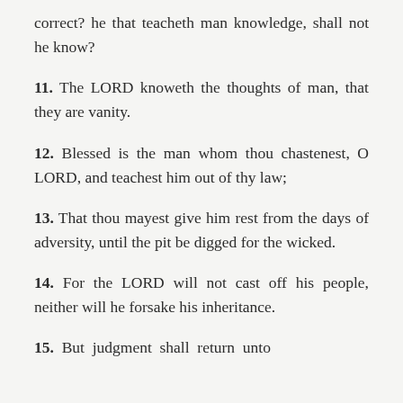correct? he that teacheth man knowledge, shall not he know?
11. The LORD knoweth the thoughts of man, that they are vanity.
12. Blessed is the man whom thou chastenest, O LORD, and teachest him out of thy law;
13. That thou mayest give him rest from the days of adversity, until the pit be digged for the wicked.
14. For the LORD will not cast off his people, neither will he forsake his inheritance.
15. But judgment shall return unto righteousness; and all the upright in heart shall